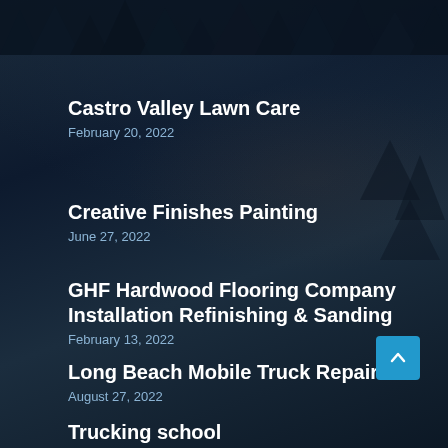Castro Valley Lawn Care
February 20, 2022
Creative Finishes Painting
June 27, 2022
GHF Hardwood Flooring Company Installation Refinishing & Sanding
February 13, 2022
Long Beach Mobile Truck Repair
August 27, 2022
Trucking school
March 2, 2022